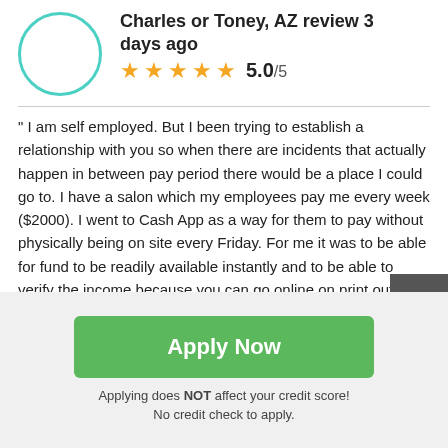Charles or Toney, AZ review 3 days ago
5.0/5
"I am self employed. But I been trying to establish a relationship with you so when there are incidents that actually happen in between pay period there would be a place I could go to. I have a salon which my employees pay me every week ($2000). I went to Cash App as a way for them to pay without physically being on site every Friday. For me it was to be able for fund to be readily available instantly and to be able to verify the income because you can go online on print out monthly statement and it is also link to a bank account set up for you."
Apply Now
Applying does NOT affect your credit score!
No credit check to apply.